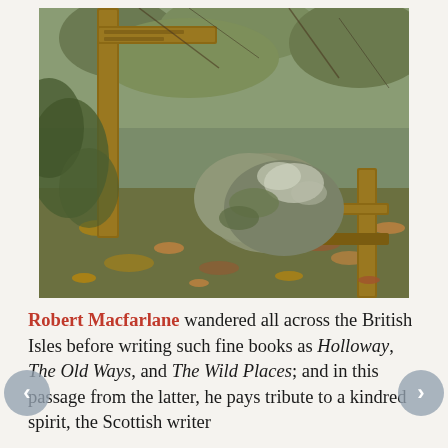[Figure (photo): Outdoor nature path photo showing a wooden signpost and gate with large moss-covered rocks surrounded by autumn foliage and dense shrubbery in a holloway or sunken lane.]
Robert Macfarlane wandered all across the British Isles before writing such fine books as Holloway, The Old Ways, and The Wild Places; and in this passage from the latter, he pays tribute to a kindred spirit, the Scottish writer